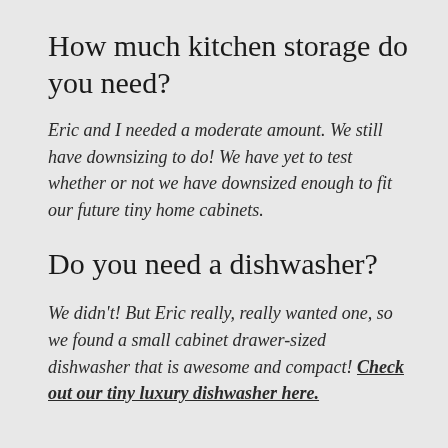How much kitchen storage do you need?
Eric and I needed a moderate amount. We still have downsizing to do! We have yet to test whether or not we have downsized enough to fit our future tiny home cabinets.
Do you need a dishwasher?
We didn't! But Eric really, really wanted one, so we found a small cabinet drawer-sized dishwasher that is awesome and compact! Check out our tiny luxury dishwasher here.